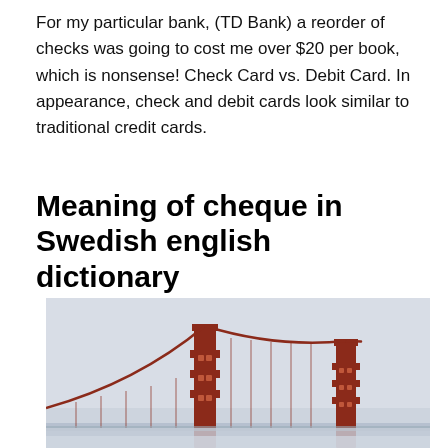For my particular bank, (TD Bank) a reorder of checks was going to cost me over $20 per book, which is nonsense! Check Card vs. Debit Card. In appearance, check and debit cards look similar to traditional credit cards.
Meaning of cheque in Swedish english dictionary
[Figure (photo): Photo of the Golden Gate Bridge in fog, showing the red suspension tower and cables against a light grey misty sky and water.]